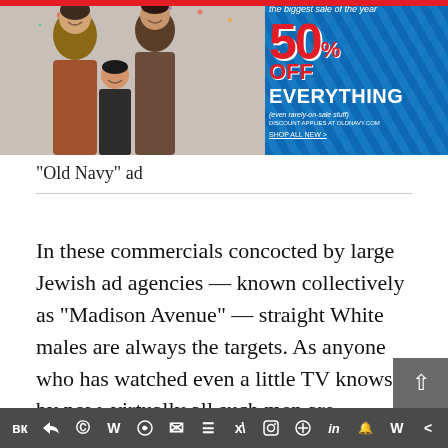[Figure (photo): Old Navy advertisement banner showing a family (man, woman, child) on the left half and a blue geometric pattern background on the right with text: 'the biggest sale of the year', '50% OFF', 'EVERYTHING', '(even rarely-on-sale stuff)', discount applies at oldnavy.com, SHOP ALL NEW >]
“Old Navy” ad
In these commercials concocted by large Jewish ad agencies — known collectively as “Madison Avenue” — straight White males are always the targets. As anyone who has watched even a little TV knows by now, virtually all such men are portrayed as fat, fumbling, flopping fools; as just a bunch of bumbling bozos and buffoons who are